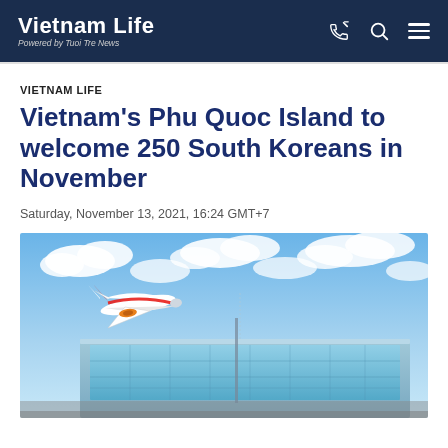Vietnam Life — Powered by Tuoi Tre News
VIETNAM LIFE
Vietnam's Phu Quoc Island to welcome 250 South Koreans in November
Saturday, November 13, 2021, 16:24 GMT+7
[Figure (photo): An airplane (Vietjet livery) approaching an airport terminal building under a blue sky with clouds — likely Phu Quoc International Airport]